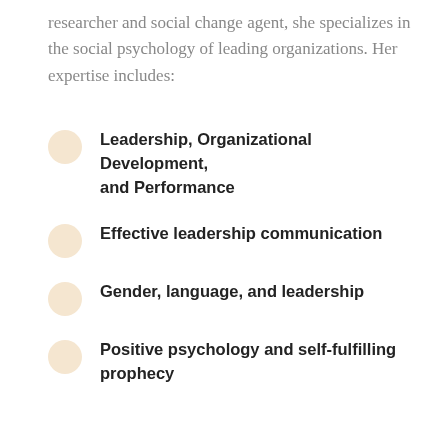researcher and social change agent, she specializes in the social psychology of leading organizations. Her expertise includes:
Leadership, Organizational Development, and Performance
Effective leadership communication
Gender, language, and leadership
Positive psychology and self-fulfilling prophecy